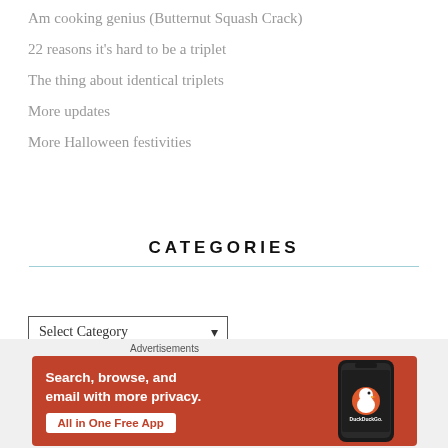Am cooking genius (Butternut Squash Crack)
22 reasons it's hard to be a triplet
The thing about identical triplets
More updates
More Halloween festivities
CATEGORIES
Select Category
[Figure (screenshot): DuckDuckGo advertisement banner with orange background. Text reads: Search, browse, and email with more privacy. All in One Free App. Shows a smartphone with the DuckDuckGo duck logo and DuckDuckGo. branding.]